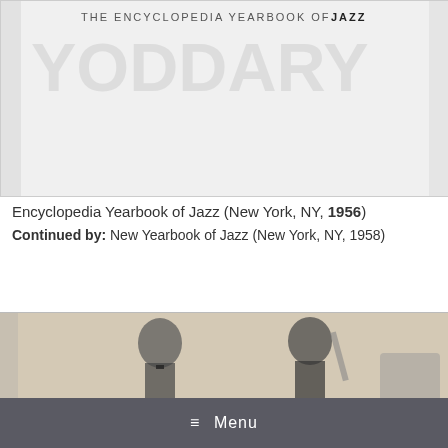[Figure (photo): Scanned book cover of The Encyclopedia Yearbook of Jazz, showing partial text. Light gray/white background with faded text visible.]
Encyclopedia Yearbook of Jazz (New York, NY, 1956)
Continued by: New Yearbook of Jazz (New York, NY, 1958)
[Figure (photo): Scanned image from inside or cover of jazz book showing illustrated figures of jazz musicians in black and white/sepia tone.]
≡ Menu